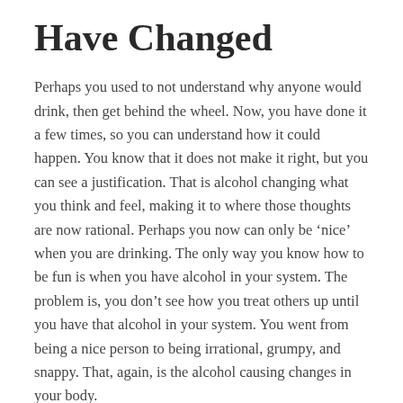Have Changed
Perhaps you used to not understand why anyone would drink, then get behind the wheel. Now, you have done it a few times, so you can understand how it could happen. You know that it does not make it right, but you can see a justification. That is alcohol changing what you think and feel, making it to where those thoughts are now rational. Perhaps you now can only be ‘nice’ when you are drinking. The only way you know how to be fun is when you have alcohol in your system. The problem is, you don’t see how you treat others up until you have that alcohol in your system. You went from being a nice person to being irrational, grumpy, and snappy. That, again, is the alcohol causing changes in your body.
Getting a DUI is a Big Sign You Might